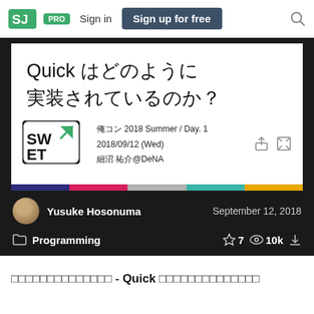Speaker Deck | PRO | Sign in | Sign up for free
[Figure (screenshot): Slide preview showing Japanese title 'Quick はどのように実装されているのか？' with SWET logo, event info '俺コン 2018 Summer / Day. 1', date '2018/09/12 (Wed)', author '細沼 祐介@DeNA']
Yusuke Hosonuma — September 12, 2018
Programming — ☆ 7  👁 10k  ↓
□□□□□□□□□□□□□□ - Quick □□□□□□□□□□□□□□